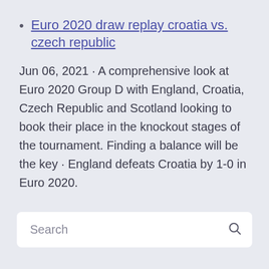Euro 2020 draw replay croatia vs. czech republic
Jun 06, 2021 · A comprehensive look at Euro 2020 Group D with England, Croatia, Czech Republic and Scotland looking to book their place in the knockout stages of the tournament. Finding a balance will be the key · England defeats Croatia by 1-0 in Euro 2020.
Search